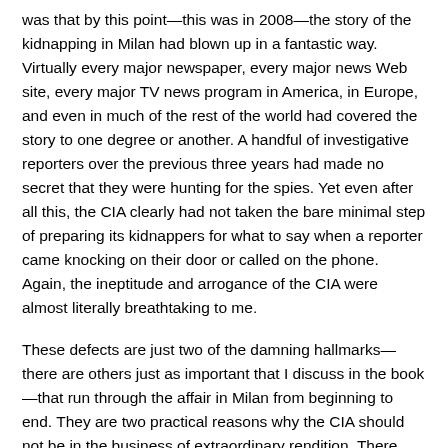was that by this point—this was in 2008—the story of the kidnapping in Milan had blown up in a fantastic way. Virtually every major newspaper, every major news Web site, every major TV news program in America, in Europe, and even in much of the rest of the world had covered the story to one degree or another. A handful of investigative reporters over the previous three years had made no secret that they were hunting for the spies. Yet even after all this, the CIA clearly had not taken the bare minimal step of preparing its kidnappers for what to say when a reporter came knocking on their door or called on the phone. Again, the ineptitude and arrogance of the CIA were almost literally breathtaking to me.
These defects are just two of the damning hallmarks—there are others just as important that I discuss in the book—that run through the affair in Milan from beginning to end. They are two practical reasons why the CIA should not be in the business of extraordinary rendition. There are, of course, many other reasons why we shouldn't do renditions, even when done completely and with discretion rather than arrogance. But I will leave it to my book to make the case that extraordinary rendition is terrible policy and has no place in a